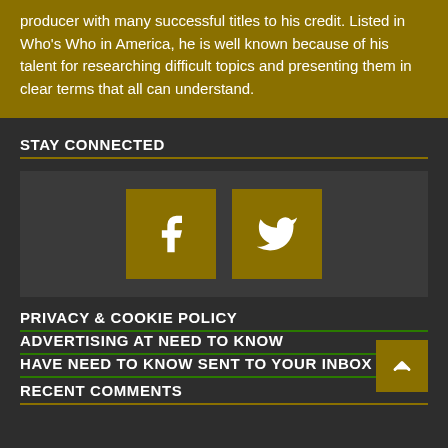producer with many successful titles to his credit. Listed in Who's Who in America, he is well known because of his talent for researching difficult topics and presenting them in clear terms that all can understand.
STAY CONNECTED
[Figure (other): Two social media icon buttons: Facebook (f) and Twitter (bird icon), gold colored squares on dark background]
PRIVACY & COOKIE POLICY
ADVERTISING AT NEED TO KNOW
HAVE NEED TO KNOW SENT TO YOUR INBOX
RECENT COMMENTS